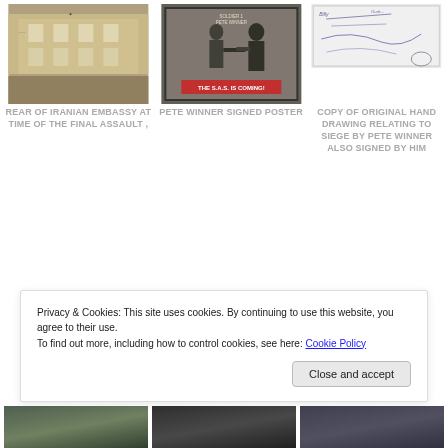[Figure (photo): Photo of rear of Iranian Embassy building]
REAR OF IRANIAN EMBASSY AT TIME OF THE FINAL ASSAULT ,
[Figure (photo): Pete Winner signed poster showing SAS soldiers with text THE S.A.S. IS COMING!]
PETE WINNER SIGNED POSTER
[Figure (photo): Copy of original hand drawing relating to siege by Pete Winner, also signed by him]
COPY OF ORIGINAL HAND DRAWING RELATING TO SIEGE BY PETE WINNER ALSO SIGNED BY HIM
Privacy & Cookies: This site uses cookies. By continuing to use this website, you agree to their use.
To find out more, including how to control cookies, see here: Cookie Policy
[Figure (photo): Bottom strip of three photos (partially visible)]